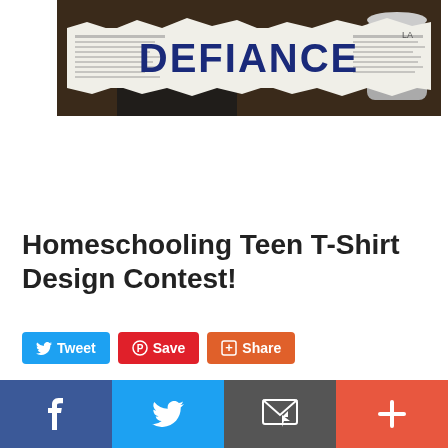[Figure (photo): A promotional image with torn newspaper revealing the word DEFIANCE in large dark blue bold letters, with a person visible in the background behind the newspaper.]
Homeschooling Teen T-Shirt Design Contest!
Tweet | Save | Share (social sharing buttons)
[Figure (infographic): Bottom navigation bar with four colored segments: Facebook (dark blue with f icon), Twitter (light blue with bird icon), Email (grey with email icon), and Plus/More (orange-red with + icon).]